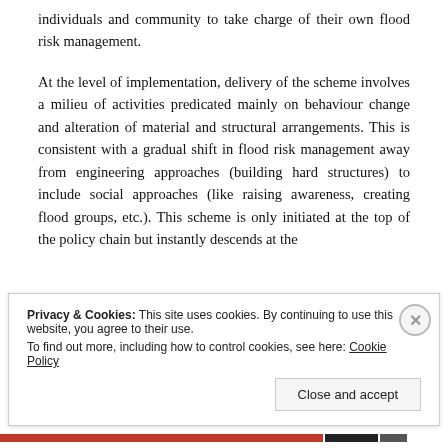individuals and community to take charge of their own flood risk management.
At the level of implementation, delivery of the scheme involves a milieu of activities predicated mainly on behaviour change and alteration of material and structural arrangements. This is consistent with a gradual shift in flood risk management away from engineering approaches (building hard structures) to include social approaches (like raising awareness, creating flood groups, etc.). This scheme is only initiated at the top of the policy chain but instantly descends at the
Privacy & Cookies: This site uses cookies. By continuing to use this website, you agree to their use. To find out more, including how to control cookies, see here: Cookie Policy
Close and accept